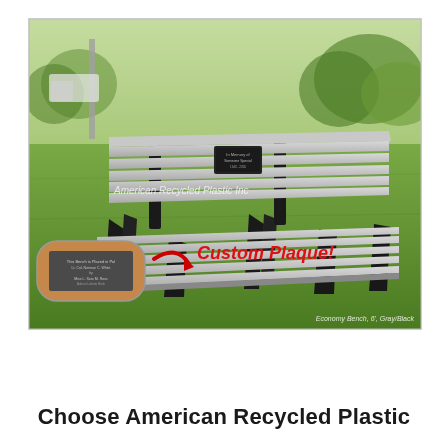[Figure (photo): Outdoor park bench made of recycled plastic with gray slats and black legs/frame, shown on a grass lawn with trees in the background. Includes a custom memorial plaque insert shown in the lower left corner with a red arrow pointing to a 'Custom Plaque!' label. Watermark reads 'American Recycled Plastic Inc'. Caption at bottom right reads 'Economy Bench, 6', Gray/Black'.]
Choose American Recycled Plastic